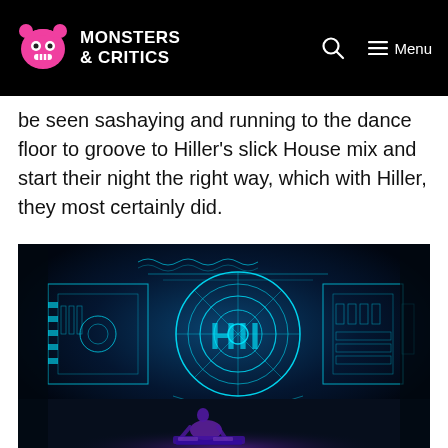Monsters & Critics — Menu
be seen sashaying and running to the dance floor to groove to Hiller's slick House mix and start their night the right way, which with Hiller, they most certainly did.
[Figure (photo): A DJ performing on stage with a vivid blue neon/cyan light projection behind them showing mechanical/industrial design graphics including gears, wheels, and circuit-like patterns with partial text 'HII' visible. The performer is silhouetted in purple/magenta light at the front of the stage.]